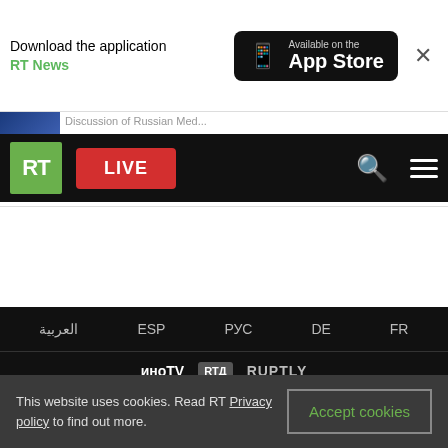[Figure (screenshot): App Store download banner with RT News text and Available on the App Store badge, with close button]
[Figure (screenshot): RT website navigation bar with RT logo in green, red LIVE button, search icon, and hamburger menu on black background]
[Figure (screenshot): RT website footer on black background with language links (العربية, ESP, РУС, DE, FR), brand logos (иноTV, RTД, RUPTLY), social media icons (Telegram, Twitter, VK, gab, Parler, Odysee), and RT News App section]
This website uses cookies. Read RT Privacy policy to find out more.
Accept cookies